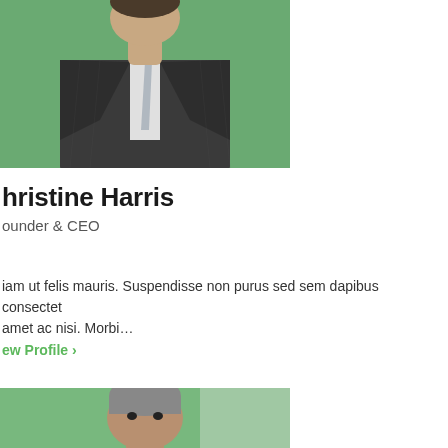[Figure (photo): Professional headshot of a man in a dark pinstripe suit with a light tie, photographed against a green background, cropped at torso level]
Christine Harris
Founder & CEO
iam ut felis mauris. Suspendisse non purus sed sem dapibus consectet amet ac nisi. Morbi...
View Profile ›
[Figure (photo): Professional headshot of a middle-aged man with grey hair in a dark suit with a light tie, photographed against a green background]